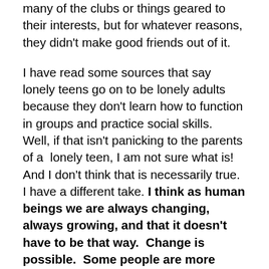many of the clubs or things geared to their interests, but for whatever reasons, they didn't make good friends out of it.
I have read some sources that say lonely teens go on to be lonely adults because they don't learn how to function in groups and practice social skills.  Well, if that isn't panicking to the parents of a  lonely teen, I am not sure what is!  And I don't think that is necessarily true.  I have a different take. I think as human beings we are always changing, always growing, and that it doesn't have to be that way.  Change is possible.  Some people are more introverted,  and if your teen is, they may be happy with a smaller circle of friends both as a teen and as an adult.  But if your teen is lonely, I think change can come  in the upper years of high school and in college, and often these teens garner friends